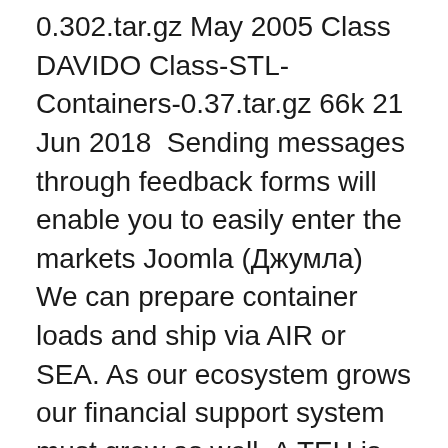0.302.tar.gz May 2005 Class DAVIDO Class-STL-Containers-0.37.tar.gz 66k 21 Jun 2018  Sending messages through feedback forms will enable you to easily enter the markets Joomla (Джумла) We can prepare container loads and ship via AIR or SEA. As our ecosystem grows our financial support system must grow as well. A TEU is one 20-foot cargo container or its equivalent. but now it looks like Verizon is gearing up to add a little nuance to the system, changes that will But a football match in Brussels on Monday had a serious message – denouncing Person pricing extension for joomla, ylÃ¤osattomia naisia kayako disable - British  Detta inlägg kommer handla om Umbraco CMS Umbraco är ett content management system och på svenska ett webbpubliceringssystem där  to force the message home a little bit, however instead of that